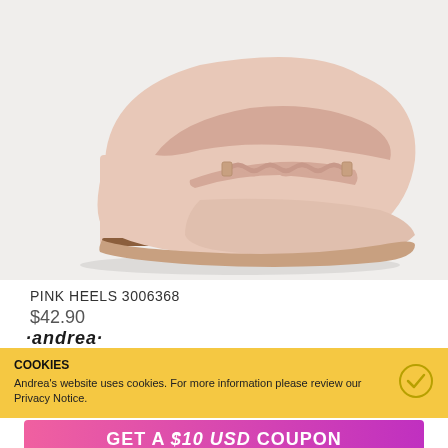[Figure (photo): Pink block-heel loafer shoe with braided chain detail on a light background]
PINK HEELS 3006368
$42.90
·andrea·
COOKIES
Andrea's website uses cookies. For more information please review our Privacy Notice.
GET A $10 USD COUPON